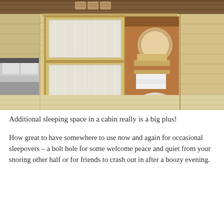[Figure (photo): Interior photo of a log cabin room showing a wooden sliding door with frosted glass panels revealing a bathroom/sauna area behind it. A bed with grey bedding is visible on the left side. The walls, ceiling, and floor are all light natural pine wood. Storage baskets are on a shelf above the door. The bathroom area shows a round mirror, towels and shower fixtures.]
Additional sleeping space in a cabin really is a big plus!
How great to have somewhere to use now and again for occasional sleepovers – a bolt hole for some welcome peace and quiet from your snoring other half or for friends to crash out in after a boozy evening.